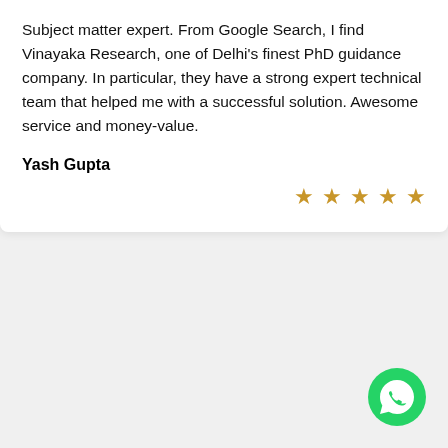Subject matter expert. From Google Search, I find Vinayaka Research, one of Delhi's finest PhD guidance company. In particular, they have a strong expert technical team that helped me with a successful solution. Awesome service and money-value.
Yash Gupta
[Figure (other): Five gold star rating icons arranged horizontally on the right side]
[Figure (logo): WhatsApp green circular button icon in bottom right corner]